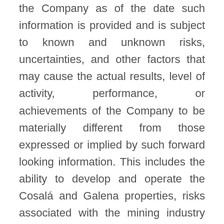the Company as of the date such information is provided and is subject to known and unknown risks, uncertainties, and other factors that may cause the actual results, level of activity, performance, or achievements of the Company to be materially different from those expressed or implied by such forward looking information. This includes the ability to develop and operate the Cosalá and Galena properties, risks associated with the mining industry such as economic factors (including future commodity prices, currency fluctuations and energy prices), failure of plant,